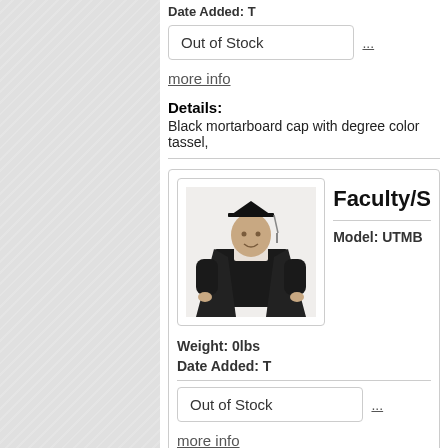Date Added: T
Out of Stock   ...
more info
Details:
Black mortarboard cap with degree color tassel,
Faculty/S
Model: UTMB
[Figure (photo): Person wearing black academic graduation gown and mortarboard cap]
Weight: 0lbs
Date Added: T
Out of Stock   ...
more info
Details:
Black mortarboard cap with degree color tassel,